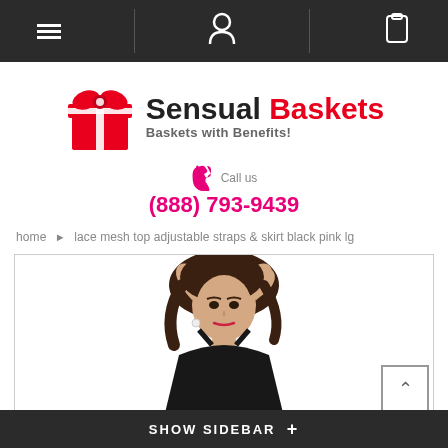Navigation bar with menu, user, and cart icons
[Figure (logo): Sensual Baskets logo with red gift box icon and text 'Sensual Baskets - Baskets with Benefits!']
Call us (888) 793-9439
home > lace mesh top adjustable straps & skirt black pink lg
[Figure (photo): Model with dark hair posing with hands in hair, wearing black outfit]
SHOW SIDEBAR +